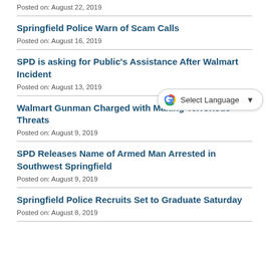Posted on: August 22, 2019
Springfield Police Warn of Scam Calls
Posted on: August 16, 2019
SPD is asking for Public's Assistance After Walmart Incident
Posted on: August 13, 2019
Walmart Gunman Charged with Making Terroristic Threats
Posted on: August 9, 2019
SPD Releases Name of Armed Man Arrested in Southwest Springfield
Posted on: August 9, 2019
Springfield Police Recruits Set to Graduate Saturday
Posted on: August 8, 2019